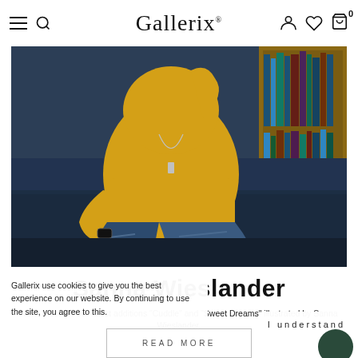Gallerix
[Figure (photo): Woman in yellow hoodie and distressed jeans sitting on a dark blue sofa with bookshelves in the background]
Sanna Wieslander
New! Discover our latest additions "Cuddle" and "Sweet Dreams" illustrated by Sanna Wieslander.
Gallerix use cookies to give you the best experience on our website. By continuing to use the site, you agree to this.
I understand
READ MORE